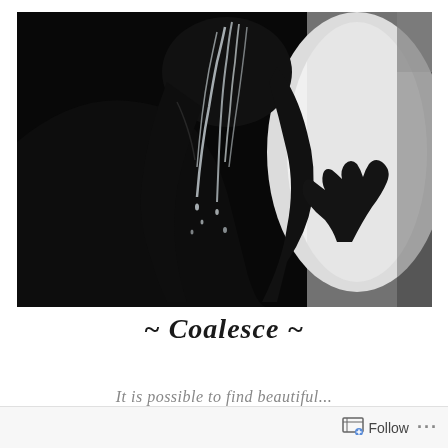[Figure (photo): High-contrast black and white photograph of a person washing their hair, with water streaming down. The figure is silhouetted against a bright window. Shot in dramatic chiaroscuro lighting.]
~ Coalesce ~
It is possible to find beautiful...
Follow ···